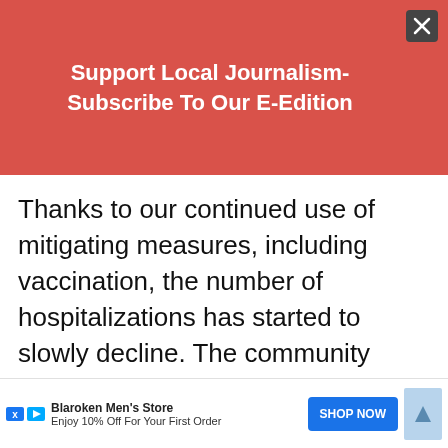Support Local Journalism-Subscribe To Our E-Edition
Thanks to our continued use of mitigating measures, including vaccination, the number of hospitalizations has started to slowly decline. The community members at highest risk of severe illness due to COVID-19 are the unvaccinated. In recent days we have s... ose vaccin...
[Figure (screenshot): Ad overlay: Blaroken Men's Store — Enjoy 10% Off For Your First Order — SHOP NOW button]